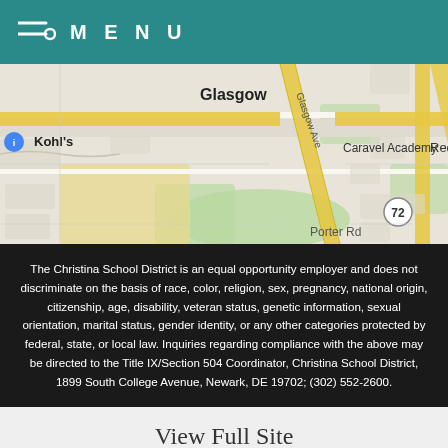MENU
[Figure (map): Google Maps screenshot showing the Glasgow area in Delaware, with landmarks including Kohl's, Glasgow, Caravel Academy, Porter Rd, Glasgow Ave, and route 72.]
The Christina School District is an equal opportunity employer and does not discriminate on the basis of race, color, religion, sex, pregnancy, national origin, citizenship, age, disability, veteran status, genetic information, sexual orientation, marital status, gender identity, or any other categories protected by federal, state, or local law. Inquiries regarding compliance with the above may be directed to the Title IX/Section 504 Coordinator, Christina School District, 1899 South College Avenue, Newark, DE 19702; (302) 552-2600.
View Full Site